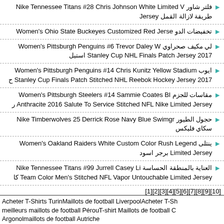فلتر شاور Nike Tennessee Titans #28 Chris Johnson White Limited Jersey طريقة لازالة القمل
تخفيضات الدو Women's Ohio State Buckeyes Customized Red Jerse
لي مكيف صحراوي Women's Pittsburgh Penguins #6 Trevor Daley W 2017 Stanley Cup NHL Finals Patch Jersey استيل
ايوب Women's Pittsburgh Penguins #14 Chris Kunitz Yellow Stadium 2017 Stanley Cup Finals Patch Stitched NHL Reebok Hockey Jersey ح
مقاسات للجزم Women's Pittsburgh Steelers #14 Sammie Coates Bl Anthracite 2016 Salute To Service Stitched NFL Nike Limited Jersey ر
حجول الطيور Nike Timberwolves 25 Derrick Rose Navy Blue Swimgr سكاي فليكس
ينتلى Women's Oakland Raiders White Custom Color Rush Legend Limited Jersey برجر اسود
العناية بالمنطقة الحساسة Nike Tennessee Titans #99 Jurrell Casey Li Team Color Men's Stitched NFL Vapor Untouchable Limited Jersey كا
[1][2][3][4][5][6][7][8][9][10]
Acheter T-Shirts TurinMaillots de football LiverpoolAcheter T-Sh meilleurs maillots de football PérouT-shirt Maillots de football C Argonolmaillots de football Autriche